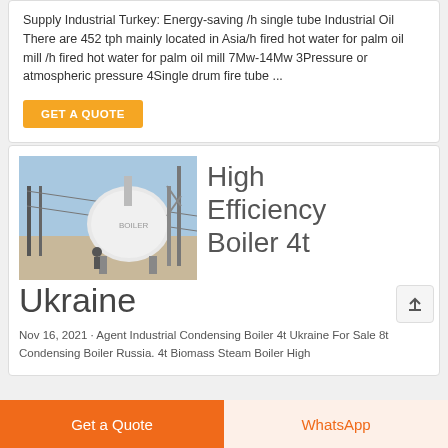Supply Industrial Turkey: Energy-saving /h single tube Industrial Oil There are 452 tph mainly located in Asia/h fired hot water for palm oil mill /h fired hot water for palm oil mill 7Mw-14Mw 3Pressure or atmospheric pressure 4Single drum fire tube ...
GET A QUOTE
[Figure (photo): Outdoor industrial boiler unit on a construction site, with metal scaffolding, blue sky background.]
High Efficiency Boiler 4t Ukraine
Nov 16, 2021 · Agent Industrial Condensing Boiler 4t Ukraine For Sale 8t Condensing Boiler Russia. 4t Biomass Steam Boiler High
Get a Quote
WhatsApp